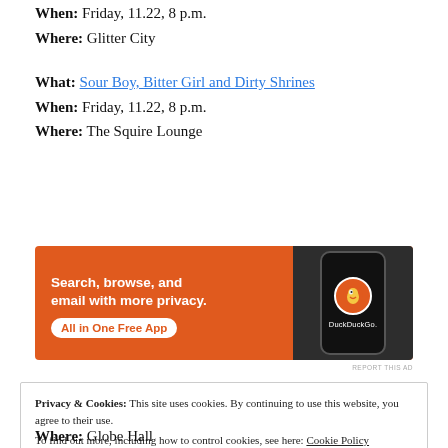When: Friday, 11.22, 8 p.m.
Where: Glitter City
What: Sour Boy, Bitter Girl and Dirty Shrines
When: Friday, 11.22, 8 p.m.
Where: The Squire Lounge
[Figure (screenshot): DuckDuckGo advertisement banner: orange background with phone image. Text reads 'Search, browse, and email with more privacy. All in One Free App' with DuckDuckGo logo.]
REPORT THIS AD
Privacy & Cookies: This site uses cookies. By continuing to use this website, you agree to their use. To find out more, including how to control cookies, see here: Cookie Policy
Close and accept
Where: Globe Hall